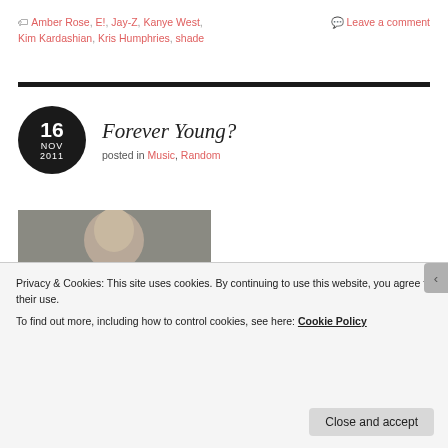🏷 Amber Rose, E!, Jay-Z, Kanye West, Kim Kardashian, Kris Humphries, shade   💬 Leave a comment
Forever Young?
posted in Music, Random
[Figure (photo): Partial photo of a person, cropped from top of image, muted grayish tones]
Privacy & Cookies: This site uses cookies. By continuing to use this website, you agree to their use.
To find out more, including how to control cookies, see here: Cookie Policy
Close and accept